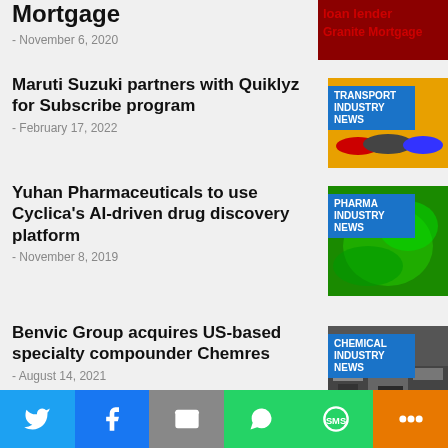Mortgage
- November 6, 2020
Maruti Suzuki partners with Quiklyz for Subscribe program
- February 17, 2022
[Figure (photo): Transport Industry News thumbnail with cars on yellow background]
Yuhan Pharmaceuticals to use Cyclica’s AI-driven drug discovery platform
- November 8, 2019
[Figure (photo): Pharma Industry News thumbnail with green abstract background]
Benvic Group acquires US-based specialty compounder Chemres
- August 14, 2021
[Figure (photo): Chemical Industry News thumbnail with aerial industrial view]
Coronavirus Symptoms in humans,
[Figure (photo): Pharma Industry News thumbnail with green background]